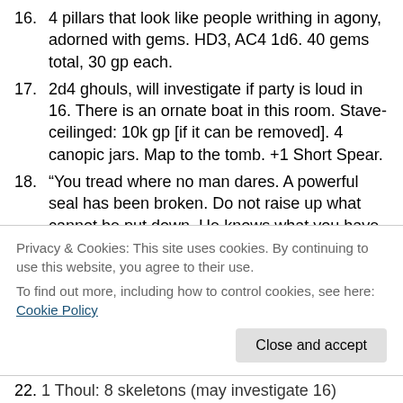16. 4 pillars that look like people writhing in agony, adorned with gems. HD3, AC4 1d6. 40 gems total, 30 gp each.
17. 2d4 ghouls, will investigate if party is loud in 16. There is an ornate boat in this room. Stave-ceilinged: 10k gp [if it can be removed]. 4 canopic jars. Map to the tomb. +1 Short Spear.
18. “You tread where no man dares. A powerful seal has been broken. Do not raise up what cannot be put down. He knows what you have done.” [hole under capstone on 2nd level leads here]
Privacy & Cookies: This site uses cookies. By continuing to use this website, you agree to their use.
To find out more, including how to control cookies, see here: Cookie Policy
22. 1 Thoul: 8 skeletons (may investigate 16)